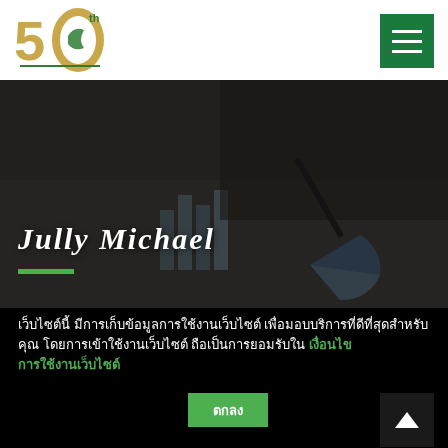[Figure (logo): 50th anniversary logo with gold '50' and green bird/ribbon mark]
[Figure (illustration): Green hamburger menu button (three white horizontal lines on green background)]
[Figure (photo): Hero banner: close-up of a person's hand holding a pen over financial charts and graphs documents, dark overlay, with name 'JULLY MICHAEL' in white italic serif font and a green underline accent below]
เว็บไซต์นี้ มีการเก็บข้อมูลการใช้งานเว็บไซต์ เพื่อมอบบริการที่ดีที่สุดสำหรับคุณ โดยการเข้าใช้งานเว็บไซต์ ถือเป็นการยอมรับใน เงื่อนไขการใช้งานเว็บไซต์
ตกลง